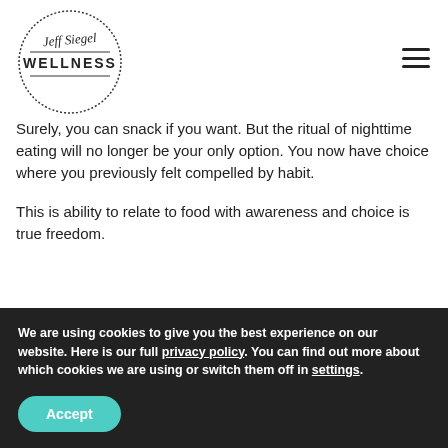[Figure (logo): Jeff Siegel Wellness logo — circular hand-drawn border with script 'Jeff Siegel' and bold 'WELLNESS' text]
Surely, you can snack if you want. But the ritual of nighttime eating will no longer be your only option. You now have choice where you previously felt compelled by habit.
This is ability to relate to food with awareness and choice is true freedom.
And it all stems from the surprising true of of forming
We are using cookies to give you the best experience on our website. Here is our full privacy policy. You can find out more about which cookies we are using or switch them off in settings.
Accept